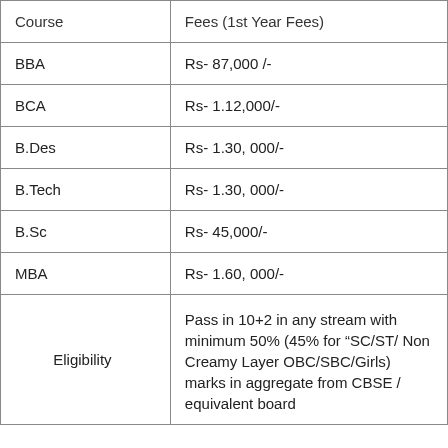| Course | Fees (1st Year Fees) |
| --- | --- |
| BBA | Rs- 87,000 /- |
| BCA | Rs- 1.12,000/- |
| B.Des | Rs- 1.30, 000/- |
| B.Tech | Rs- 1.30, 000/- |
| B.Sc | Rs- 45,000/- |
| MBA | Rs- 1.60, 000/- |
| Eligibility | Pass in 10+2 in any stream with minimum 50% (45% for “SC/ST/ Non Creamy Layer OBC/SBC/Girls) marks in aggregate from CBSE / equivalent board |